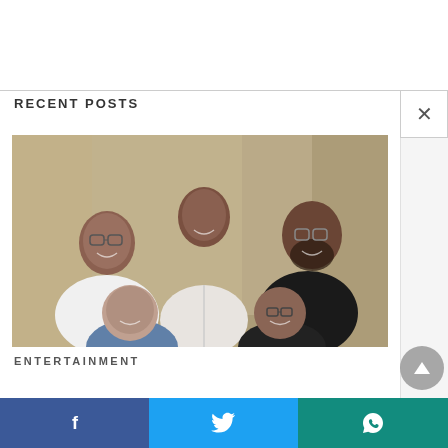RECENT POSTS
[Figure (photo): Group photo of five men smiling, three standing in the back row and two partially visible in the front row, in a warmly lit room with beige/gold walls.]
ENTERTAINMENT